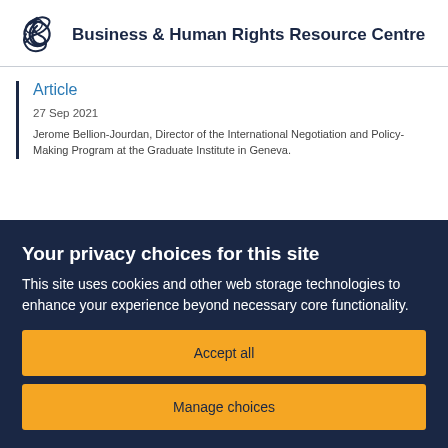Business & Human Rights Resource Centre
Article
27 Sep 2021
Jerome Bellion-Jourdan, Director of the International Negotiation and Policy-Making Program at the Graduate Institute in Geneva.
Your privacy choices for this site
This site uses cookies and other web storage technologies to enhance your experience beyond necessary core functionality.
Accept all
Manage choices